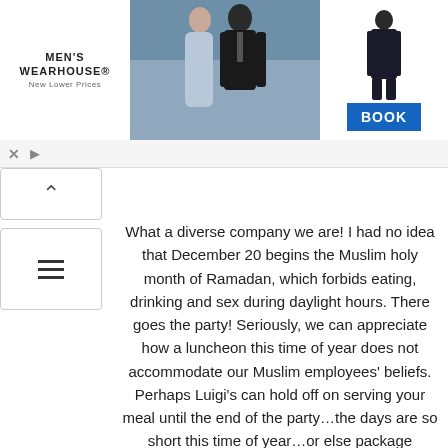[Figure (photo): Men's Wearhouse advertisement banner with logo, couple in formal wear, suited man silhouette, and BOOK button]
What a diverse company we are! I had no idea that December 20 begins the Muslim holy month of Ramadan, which forbids eating, drinking and sex during daylight hours. There goes the party! Seriously, we can appreciate how a luncheon this time of year does not accommodate our Muslim employees' beliefs. Perhaps Luigi's can hold off on serving your meal until the end of the party…the days are so short this time of year…or else package everything for take-home in little foil swans.
Will that work? Meanwhile, I've arranged for members of Over eaters Anonymous to sit